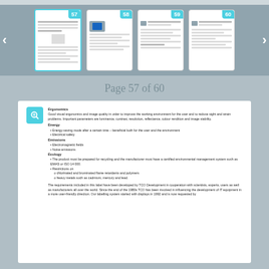[Figure (screenshot): Thumbnail navigation strip showing 4 document page thumbnails labeled 57 (active/selected), 58, 59, 60 with left and right navigation arrows on a steel-blue background]
Page 57 of 60
[Figure (screenshot): Document page preview icon (teal magnifying glass on teal square background)]
Ergonomics
Good visual ergonomics and image quality in order to improve the working environment for the user and to reduce sight and strain problems. Important parameters are luminance, contrast, resolution, reflectance, colour rendition and image stability.
Energy
Energy-saving mode after a certain time – beneficial both for the user and the environment
Electrical safety
Emissions
Electromagnetic fields
Noise emissions
Ecology
The product must be prepared for recycling and the manufacturer must have a certified environmental management system such as EMAS or ISO 14 000.
Restrictions on
o chlorinated and brominated flame retardants and polymers
o heavy metals such as cadmium, mercury and lead.
The requirements included in this label have been developed by TCO Development in cooperation with scientists, experts, users as well as manufacturers all over the world. Since the end of the 1980s TCO has been involved in influencing the development of IT equipment in a more user-friendly direction. Our labelling system started with displays in 1992 and is now requested by